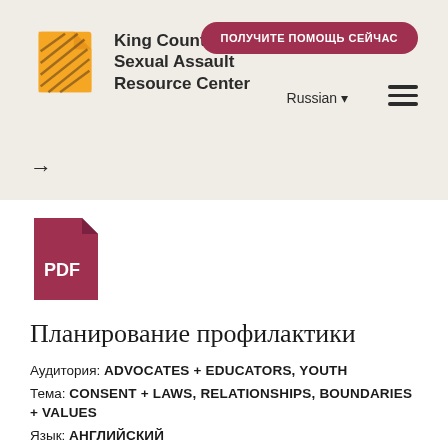[Figure (logo): King County Sexual Assault Resource Center logo with orange/yellow document icon and text]
ПОЛУЧИТЕ ПОМОЩЬ СЕЙЧАС
Russian ▾
[Figure (other): Hamburger menu icon (three horizontal bars)]
→
[Figure (other): Red PDF file icon with 'PDF' label]
Планирование профилактики
Аудитория: ADVOCATES + EDUCATORS, YOUTH
Тема: CONSENT + LAWS, RELATIONSHIPS, BOUNDARIES + VALUES
Язык: АНГЛИЙСКИЙ